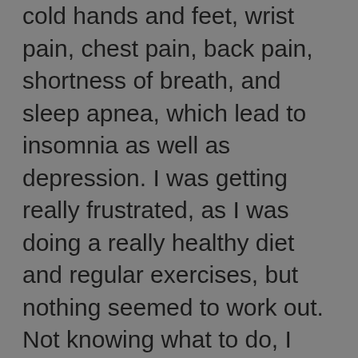cold hands and feet, wrist pain, chest pain, back pain, shortness of breath, and sleep apnea, which lead to insomnia as well as depression. I was getting really frustrated, as I was doing a really healthy diet and regular exercises, but nothing seemed to work out. Not knowing what to do, I was almost in despair.
CYE: What happened when you started doing Solar Body exercises?
YK: Since I started doing Solar Body exercises, many of my health issues either disappeared or improved dramatically. Some almost immediately, others gradually. My chest pain